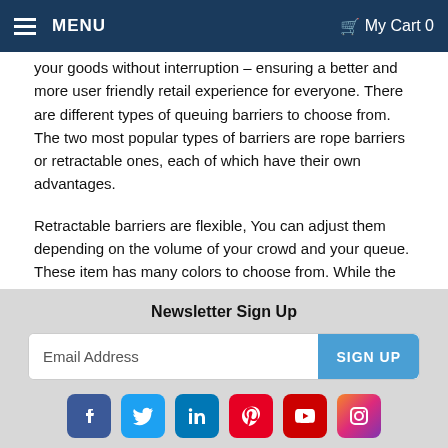MENU   My Cart 0
your goods without interruption – ensuring a better and more user friendly retail experience for everyone. There are different types of queuing barriers to choose from. The two most popular types of barriers are rope barriers or retractable ones, each of which have their own advantages.
Retractable barriers are flexible, You can adjust them depending on the volume of your crowd and your queue. These item has many colors to choose from. While the Rope barriers are fixed barriers. So if you are planning to manage a big event, or shopping sales seasons there is a good queue solutions that will help you to control the crowd. It will make your aisle comfortable for all costumers.
Newsletter Sign Up
Email Address
SIGN UP